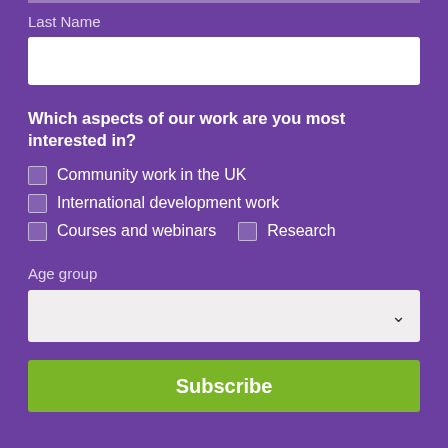Last Name
[Figure (other): Empty text input field for Last Name]
Which aspects of our work are you most interested in?
Community work in the UK
International development work
Courses and webinars
Research
Age group
[Figure (other): Dropdown selector for Age group]
Subscribe